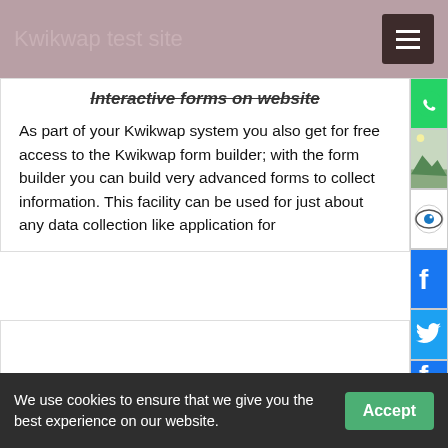Kwikwap test site
Interactive forms on website
As part of your Kwikwap system you also get for free access to the Kwikwap form builder; with the form builder you can build very advanced forms to collect information. This facility can be used for just about any data collection like application for
Pretoria in a nutshell
Pretoria is a city located in the northern part of Gauteng Province, South Africa. It is one of the country's three capital cities, serving as the executive (administrative) and de facto national capital; the others are Cape Town, the legislative cap…
We use cookies to ensure that we give you the best experience on our website.